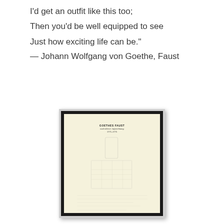I'd get an outfit like this too;
Then you'd be well equipped to see
Just how exciting life can be."
— Johann Wolfgang von Goethe, Faust
[Figure (photo): A photograph of a yellowed book page showing 'GOETHES FAUST nach älterer Aufzeichnung 1771-1775' as a title page, with faint pencil sketches and handwritten text visible through the aged paper. The book is displayed with a black border frame against a light grey mat.]